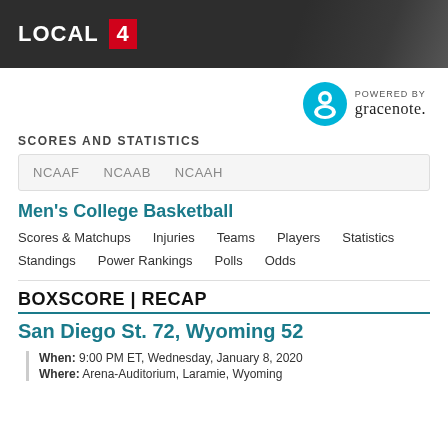LOCAL 4
[Figure (logo): Gracenote logo — circular teal icon with G shape, text POWERED BY gracenote.]
SCORES AND STATISTICS
NCAAF   NCAAB   NCAAH
Men's College Basketball
Scores & Matchups   Injuries   Teams   Players   Statistics
Standings   Power Rankings   Polls   Odds
BOXSCORE | RECAP
San Diego St. 72, Wyoming 52
When: 9:00 PM ET, Wednesday, January 8, 2020
Where: Arena-Auditorium, Laramie, Wyoming